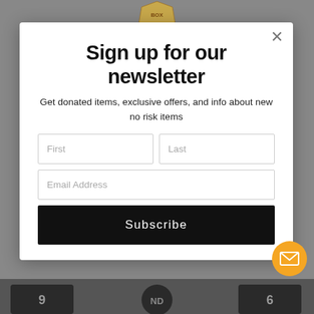Sign up for our newsletter
Get donated items, exclusive offers, and info about new no risk items
[Figure (screenshot): Newsletter signup modal with First, Last, Email Address input fields and a Subscribe button. An orange email icon is in the bottom right. Background shows dark jerseys at the bottom.]